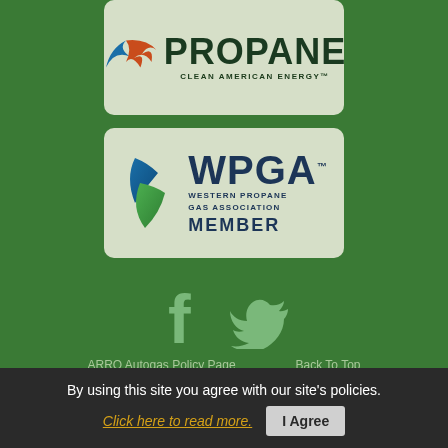[Figure (logo): Propane Clean American Energy logo with flame graphic on light green background]
[Figure (logo): WPGA Western Propane Gas Association Member logo with leaf graphic on light green background]
[Figure (illustration): Facebook and Twitter social media icons in light green color]
ARRO Autogas Policy Page   Back To Top
By using this site you agree with our site's policies.
Click here to read more.   I Agree